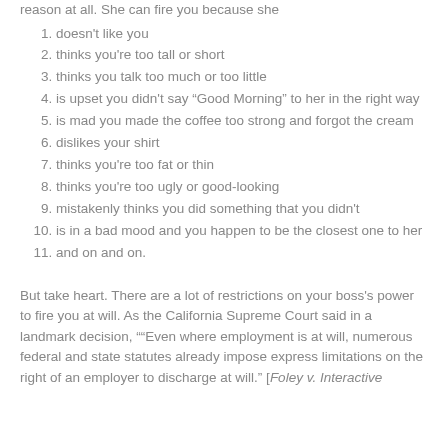reason at all. She can fire you because she
doesn't like you
thinks you're too tall or short
thinks you talk too much or too little
is upset you didn't say “Good Morning” to her in the right way
is mad you made the coffee too strong and forgot the cream
dislikes your shirt
thinks you're too fat or thin
thinks you're too ugly or good-looking
mistakenly thinks you did something that you didn't
is in a bad mood and you happen to be the closest one to her
and on and on.
But take heart. There are a lot of restrictions on your boss's power to fire you at will. As the California Supreme Court said in a landmark decision, "“Even where employment is at will, numerous federal and state statutes already impose express limitations on the right of an employer to discharge at will.” [Foley v. Interactive